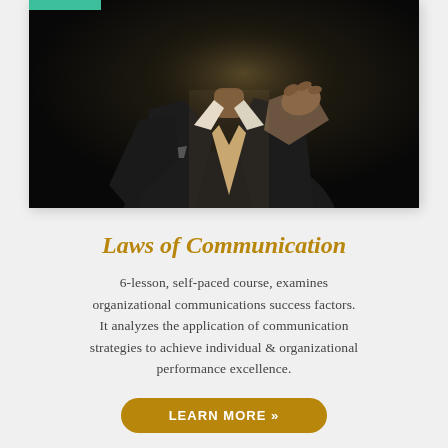[Figure (photo): A man in a dark suit adjusting his tie, dark moody background, black and white toned photo]
Laws of Communication
6-lesson, self-paced course, examines organizational communications success factors. It analyzes the application of communication strategies to achieve individual & organizational performance excellence.
LEARN MORE »